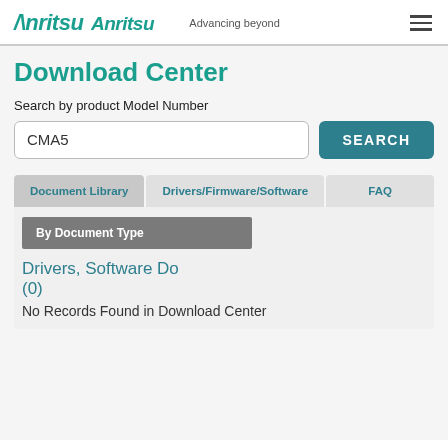Anritsu Advancing beyond
Download Center
Search by product Model Number
CMA5
SEARCH
Document Library | Drivers/Firmware/Software | FAQ
By Document Type
Drivers, Software Do
(0)
No Records Found in Download Center